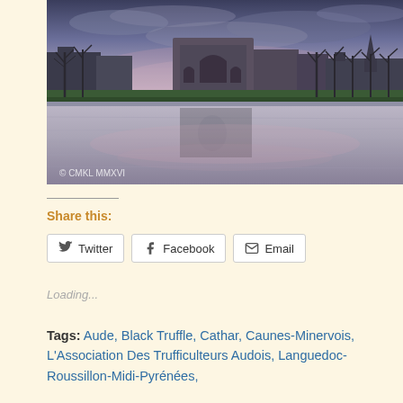[Figure (photo): Twilight/dusk photograph of a French town with a triumphal arch reflected in still water, bare trees lining the bank, with a watermark '© CMKL MMXVI' in the lower left corner.]
Share this:
Twitter  Facebook  Email
Loading...
Tags: Aude, Black Truffle, Cathar, Caunes-Minervois, L'Association Des Trufficulteurs Audois, Languedoc-Roussillon-Midi-Pyrénées, ...